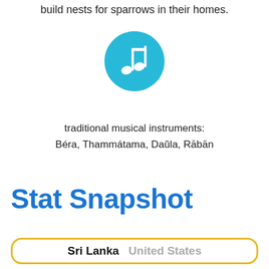build nests for sparrows in their homes.
[Figure (illustration): Teal/cyan circle with a white musical note icon in the center]
traditional musical instruments:
Béra, Thammátama, Daŭla, Rābān
Stat Snapshot
| Sri Lanka | United States |
| --- | --- |